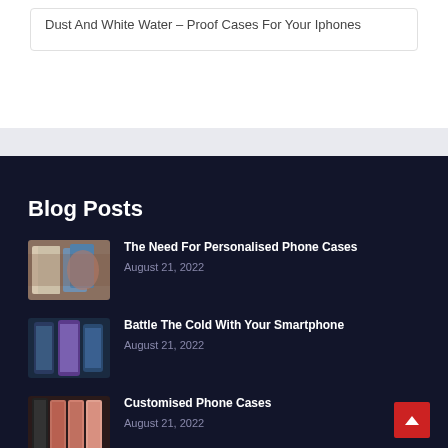Dust And White Water – Proof Cases For Your Iphones
Blog Posts
The Need For Personalised Phone Cases
August 21, 2022
Battle The Cold With Your Smartphone
August 21, 2022
Customised Phone Cases
August 21, 2022